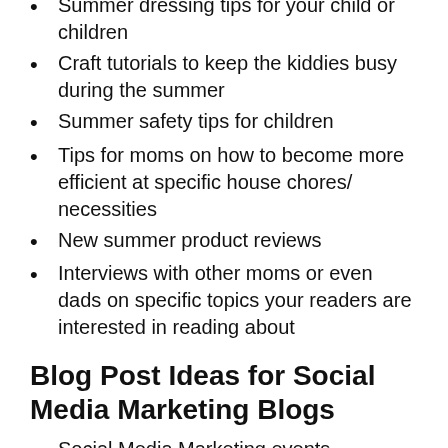Summer dressing tips for your child or children
Craft tutorials to keep the kiddies busy during the summer
Summer safety tips for children
Tips for moms on how to become more efficient at specific house chores/ necessities
New summer product reviews
Interviews with other moms or even dads on specific topics your readers are interested in reading about
Blog Post Ideas for Social Media Marketing Blogs
Social Media Marketing events
Interviews with influencers/bloggers